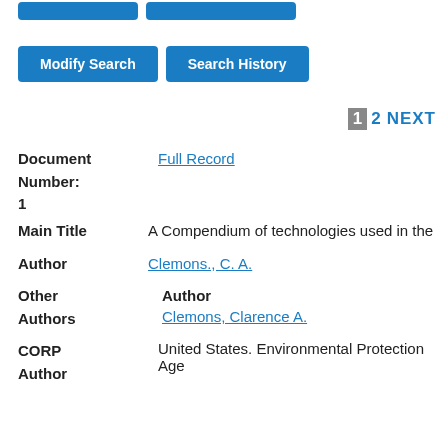[Figure (screenshot): Two blue buttons at the top (partially visible): unlabeled first button and second button]
[Figure (screenshot): Two blue buttons: 'Modify Search' and 'Search History']
1 2 NEXT
Document Number: Full Record
1
Main Title  A Compendium of technologies used in the
Author  Clemons., C. A.
Other Authors  Author  Clemons, Clarence A.
CORP Author  United States. Environmental Protection Age